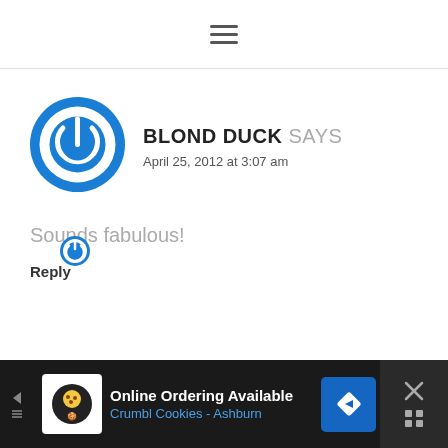≡
[Figure (illustration): Blue circular power button icon avatar for user Blond Duck]
BLOND DUCK SAYS
April 25, 2012 at 3:07 am
Sounds fabulous!
Reply
[Figure (illustration): Advertisement bar: Online Ordering Available - Crumbl Cookies - Ashburn, with cookie logo, navigation arrow icon, and close button]